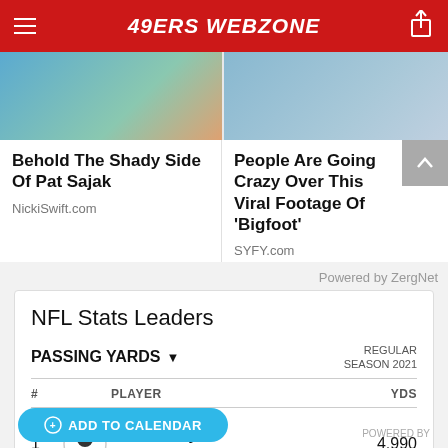49ERS WEBZONE
[Figure (screenshot): Two advertisement/promo cards: 'Behold The Shady Side Of Pat Sajak' from NickiSwift.com and 'People Are Going Crazy Over This Viral Footage Of Bigfoot' from SYFY.com]
Powered by ZergNet
NFL Stats Leaders
| # | PLAYER | YDS |
| --- | --- | --- |
| 1 | Tom Brady #12 | QB | TAMPA BAY | 4,990 |
| 2 | Matthew Stafford #9 | QB | LOS ANGELES | 4,648 |
Join 2.8M fans and follow your team
ADD TO CALENDAR
POWERED BY